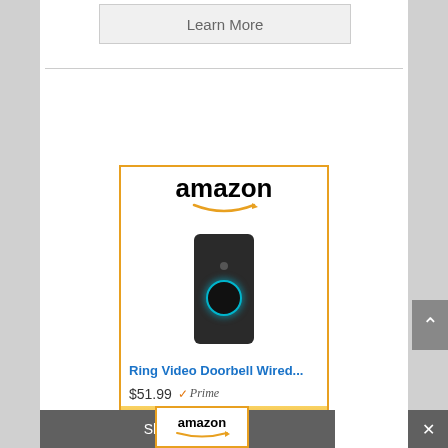Learn More
[Figure (illustration): Amazon advertisement for Ring Video Doorbell Wired, showing the Amazon logo with smile, product image of a black video doorbell, price $51.99 with Prime badge, and a Shop now button with Amazon 'a' logo on a yellow/gold background.]
Ring Video Doorbell Wired...
$51.99  ✓Prime
Shop now
Share This
amazon